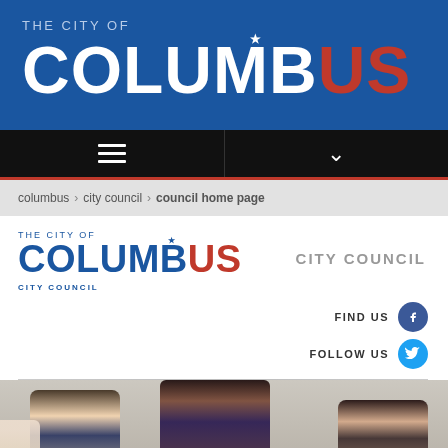[Figure (logo): The City of Columbus blue banner header with large white and red text logo]
[Figure (screenshot): Navigation bar with hamburger menu icon on left and dropdown chevron on right, black background with red bottom border]
columbus › city council › council home page
[Figure (logo): The City of Columbus City Council logo — smaller version with blue and red text, plus grey CITY COUNCIL text to the right]
FIND US
FOLLOW US
[Figure (photo): Photograph of people including a woman with natural updo hairstyle speaking, a young man with glasses, and another person, appearing to be at a community meeting]